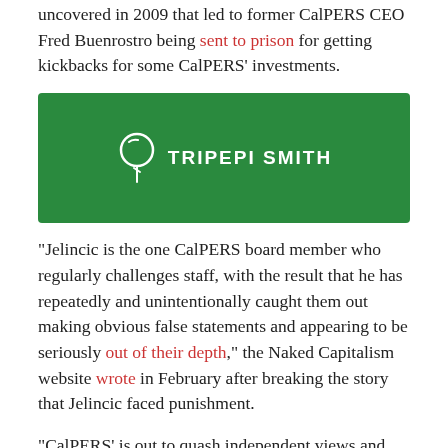uncovered in 2009 that led to former CalPERS CEO Fred Buenrostro being sent to prison for getting kickbacks for some CalPERS' investments.
[Figure (logo): Tripepi Smith logo on green background — balloon/circle icon followed by text TRIPEPI SMITH in white uppercase letters]
“Jelincic is the one CalPERS board member who regularly challenges staff, with the result that he has repeatedly and unintentionally caught them out making obvious false statements and appearing to be seriously out of their depth,” the Naked Capitalism website wrote in February after breaking the story that Jelincic faced punishment.
“CalPERS’ is out to quash independent views and badly-needed inquiries because they are seen as socially uncomfortable. … CalPERS lives in a bubble and routinely denies well-warranted criticism.